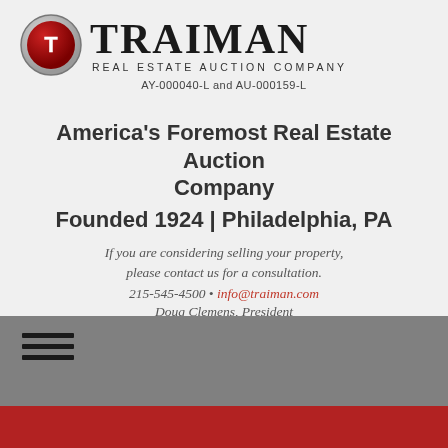[Figure (logo): Traiman Real Estate Auction Company logo with circular red and silver emblem containing letter T, company name TRAIMAN in large serif font, subtitle REAL ESTATE AUCTION COMPANY, and license numbers AY-000040-L and AU-000159-L]
America's Foremost Real Estate Auction Company
Founded 1924  |  Philadelphia, PA
If you are considering selling your property, please contact us for a consultation.
215-545-4500 • info@traiman.com
Doug Clemens, President